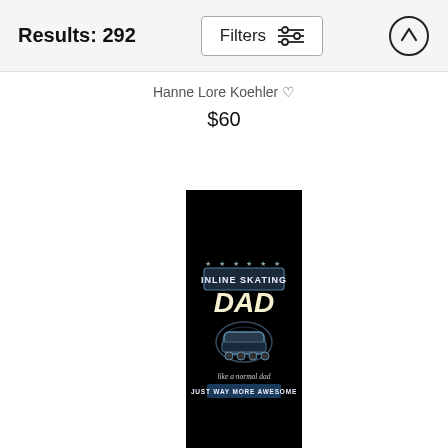Results: 292
Filters
Hanne Lore Koehler
$60
[Figure (photo): Black product (likely a t-shirt or flag) with an inline skating dad graphic. Text reads: INLINE SKATING DAD, like a normal dad JUST WAY MORE AWESOME, with an illustration of inline skates and stars.]